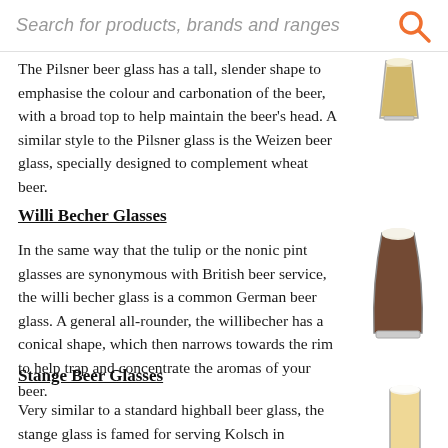Search for products, brands and ranges
The Pilsner beer glass has a tall, slender shape to emphasise the colour and carbonation of the beer, with a broad top to help maintain the beer's head. A similar style to the Pilsner glass is the Weizen beer glass, specially designed to complement wheat beer.
[Figure (photo): A pilsner beer glass with golden beer]
Willi Becher Glasses
In the same way that the tulip or the nonic pint glasses are synonymous with British beer service, the willi becher glass is a common German beer glass. A general all-rounder, the willibecher has a conical shape, which then narrows towards the rim to help trap and concentrate the aromas of your beer.
[Figure (photo): A willi becher glass filled with dark beer with a frothy head]
Stange Beer Glasses
Very similar to a standard highball beer glass, the stange glass is famed for serving Kolsch in Germany. Characterised as being tall and thin, a stange glass traditionally hoods around 200ml of beer, however the glass is so similar to a tom
[Figure (photo): A stange beer glass filled with pale golden beer]